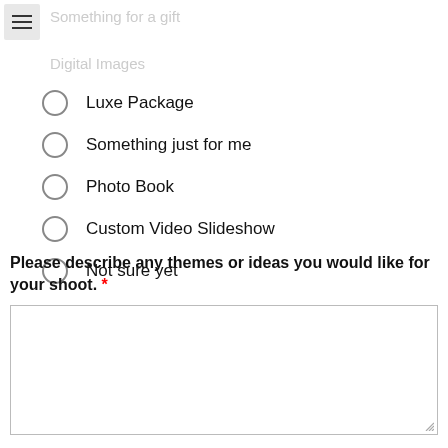Something for a gift
Digital Images
Luxe Package
Something just for me
Photo Book
Custom Video Slideshow
Not sure yet
Please describe any themes or ideas you would like for your shoot. *